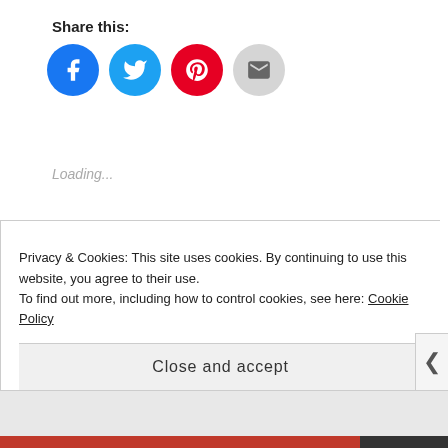Share this:
[Figure (other): Social sharing icons: Facebook (blue circle), Twitter (light blue circle), Pinterest (red circle), Email (grey circle)]
Loading...
FEBRUARY 17, 2018
CCWOODWARD1989
BLOG, CASCO VIEJO, EXPAT TRAVEL, MIRAFLORES LOCKS, PANAMA, PANAMA CANAL, PANAMA CITY, TRAVEL
Privacy & Cookies: This site uses cookies. By continuing to use this website, you agree to their use. To find out more, including how to control cookies, see here: Cookie Policy
Close and accept